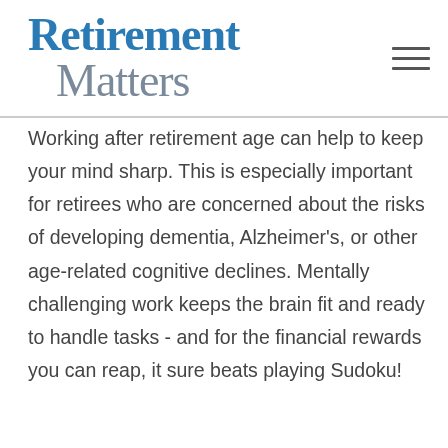Retirement Matters
Working after retirement age can help to keep your mind sharp. This is especially important for retirees who are concerned about the risks of developing dementia, Alzheimer's, or other age-related cognitive declines. Mentally challenging work keeps the brain fit and ready to handle tasks - and for the financial rewards you can reap, it sure beats playing Sudoku!